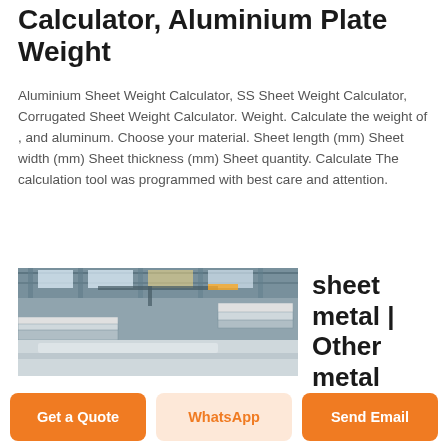Calculator, Aluminium Plate Weight
Aluminium Sheet Weight Calculator, SS Sheet Weight Calculator, Corrugated Sheet Weight Calculator. Weight. Calculate the weight of , and aluminum. Choose your material. Sheet length (mm) Sheet width (mm) Sheet thickness (mm) Sheet quantity. Calculate The calculation tool was programmed with best care and attention.
[Figure (photo): Interior of a large metal manufacturing facility with steel/aluminium sheets stacked on the factory floor, with overhead cranes and industrial lighting visible.]
sheet metal | Other metal
Get a Quote | WhatsApp | Send Email